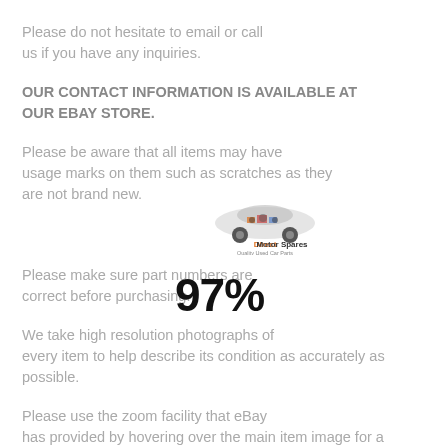Please do not hesitate to email or call us if you have any inquiries.
OUR CONTACT INFORMATION IS AVAILABLE AT OUR EBAY STORE.
Please be aware that all items may have usage marks on them such as scratches as they are not brand new.
[Figure (logo): Direct Motor Spares logo with a stylized car made of parts and text 'Direct Motor Spares - Quality Used Car Parts']
Please make sure part numbers are correct before purchasing.
We take high resolution photographs of every item to help describe its condition as accurately as possible.
Please use the zoom facility that eBay has provided by hovering over the main item image for a